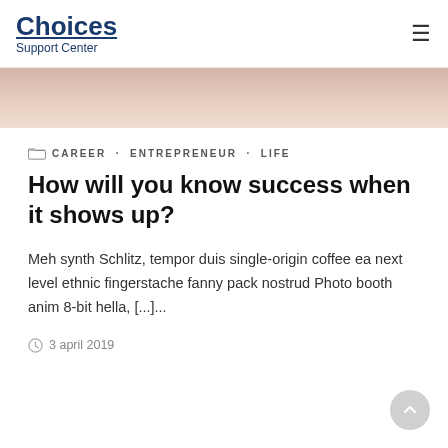Choices Support Center
[Figure (photo): Cropped photo showing a person in pink clothing, hero image banner]
CAREER · ENTREPRENEUR · LIFE
How will you know success when it shows up?
Meh synth Schlitz, tempor duis single-origin coffee ea next level ethnic fingerstache fanny pack nostrud Photo booth anim 8-bit hella, [...]...
3 april 2019